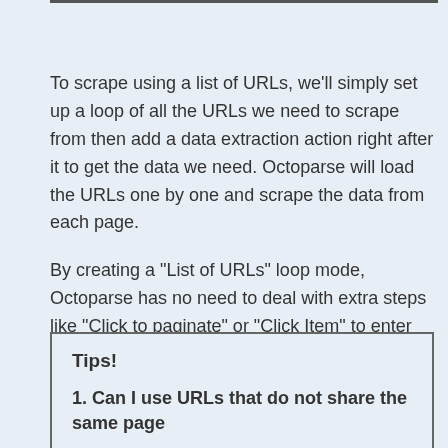To scrape using a list of URLs, we'll simply set up a loop of all the URLs we need to scrape from then add a data extraction action right after it to get the data we need. Octoparse will load the URLs one by one and scrape the data from each page.
By creating a "List of URLs" loop mode, Octoparse has no need to deal with extra steps like "Click to paginate" or "Click Item" to enter the item page. As a result, the speed of extraction will be faster, especially for Cloud Extraction. Check how to speed up with URL list.
Tips!
1. Can I use URLs that do not share the same page